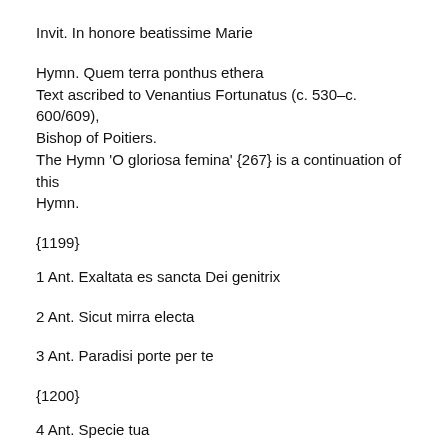Invit. In honore beatissime Marie
Hymn. Quem terra ponthus ethera
Text ascribed to Venantius Fortunatus (c. 530–c. 600/609), Bishop of Poitiers.
The Hymn 'O gloriosa femina' {267} is a continuation of this Hymn.
{1199}
1 Ant. Exaltata es sancta Dei genitrix
2 Ant. Sicut mirra electa
3 Ant. Paradisi porte per te
{1200}
4 Ant. Specie tua
5 Ant. Adiuvahit eam